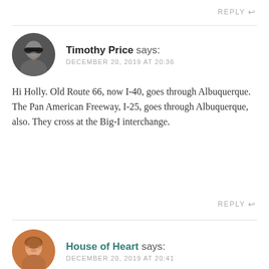REPLY
Timothy Price says:
DECEMBER 20, 2019 AT 20:36
Hi Holly. Old Route 66, now I-40, goes through Albuquerque. The Pan American Freeway, I-25, goes through Albuquerque, also. They cross at the Big-I interchange.
REPLY
House of Heart says:
DECEMBER 20, 2019 AT 20:41